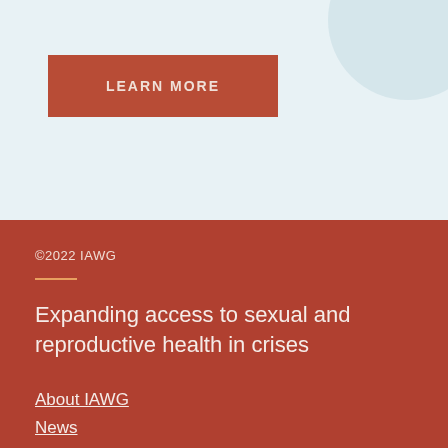[Figure (other): Light blue background section with a partially visible circular decoration in the top-right corner]
LEARN MORE
©2022 IAWG
Expanding access to sexual and reproductive health in crises
About IAWG
News